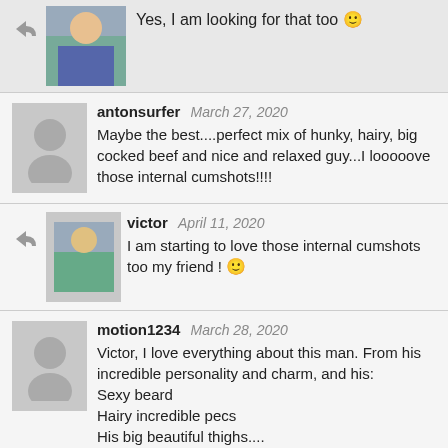Yes, I am looking for that too 🙂
antonsurfer March 27, 2020 — Maybe the best....perfect mix of hunky, hairy, big cocked beef and nice and relaxed guy...I looooove those internal cumshots!!!!
victor April 11, 2020 — I am starting to love those internal cumshots too my friend ! 🙂
motion1234 March 28, 2020 — Victor, I love everything about this man. From his incredible personality and charm, and his: Sexy beard / Hairy incredible pecs / His big beautiful thighs.... / Incredible Monster Cock.... / That gorgeous ass..... / I could go on for hours about Kyle....